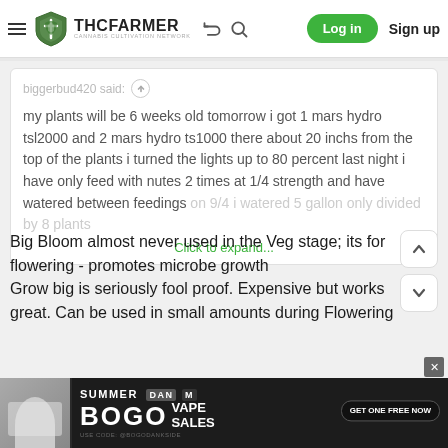THC FARMER - Cannabis Cultivation Network — Log in  Sign up
biggerbud420 said:
my plants will be 6 weeks old tomorrow i got 1 mars hydro tsl2000 and 2 mars hydro ts1000 there about 20 inchs from the top of the plants i turned the lights up to 80 percent last night i have only feed with nutes 2 times at 1/4 strength and have watered between feedings on 9/4 i watered 5 gallon only divided by 8 plants
Click to expand...
Big Bloom almost never used in the Veg stage; its for flowering - promotes microbe growth Grow big is seriously fool proof. Expensive but works great. Can be used in small amounts during Flowering
[Figure (screenshot): Advertisement banner: BOGO Summer Vape Sales with Dan M badge and Get One Free Now CTA button]